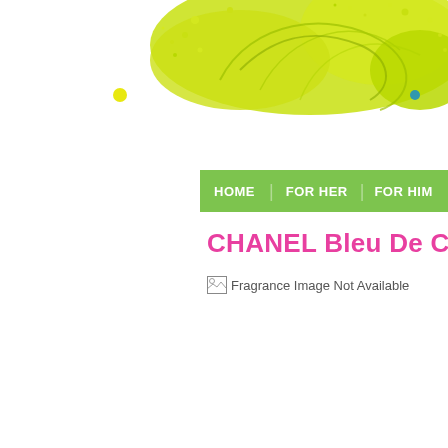[Figure (illustration): Yellow-green paint splatter decorative header banner with swirling lines and dots]
HOME   FOR HER   FOR HIM
CHANEL Bleu De C
[Figure (other): Broken image placeholder with alt text: Fragrance Image Not Available]